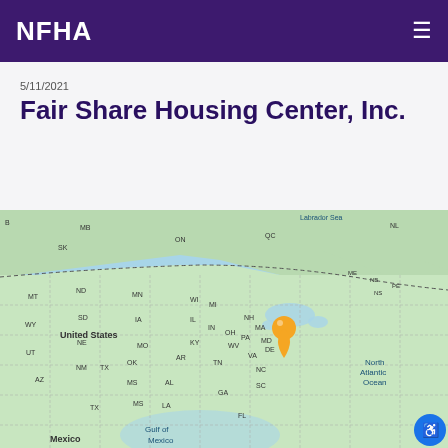NFHA
5/11/2021
Fair Share Housing Center, Inc.
[Figure (map): Interactive map of North America showing a location pin in the northeastern United States (New Jersey area). Map shows United States, Canada with province/state abbreviations, Gulf of Mexico, and North Atlantic Ocean labels. Orange location marker near PA/NJ area.]